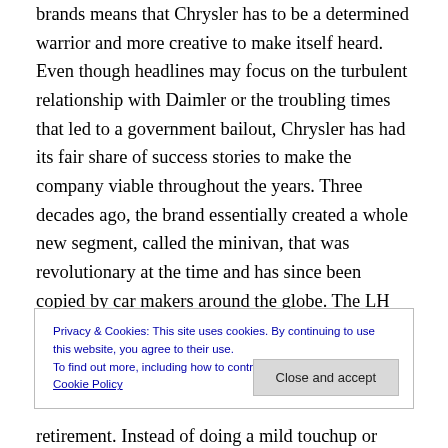brands means that Chrysler has to be a determined warrior and more creative to make itself heard. Even though headlines may focus on the turbulent relationship with Daimler or the troubling times that led to a government bailout, Chrysler has had its fair share of success stories to make the company viable throughout the years. Three decades ago, the brand essentially created a whole new segment, called the minivan, that was revolutionary at the time and has since been copied by car makers around the globe. The LH full-size sedans, the Dodge Intrepid, Eagle Vision, and Chrysler Concorde,
Privacy & Cookies: This site uses cookies. By continuing to use this website, you agree to their use.
To find out more, including how to control cookies, see here: Cookie Policy
retirement. Instead of doing a mild touchup or going for a